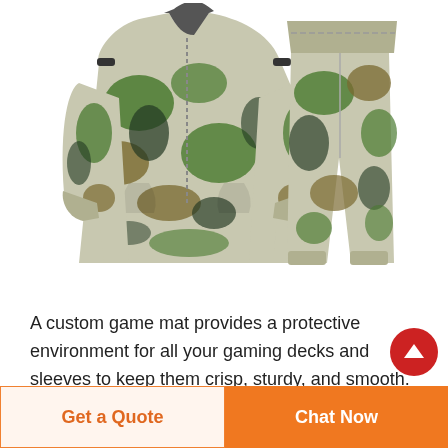[Figure (photo): Camouflage military/outdoor rain suit consisting of a jacket and pants, shown on a white background. The suit has a green, brown, and grey digital camouflage pattern.]
A custom game mat provides a protective environment for all your gaming decks and sleeves to keep them crisp, sturdy, and smooth. You'll get years more playability out of
Get a Quote
Chat Now